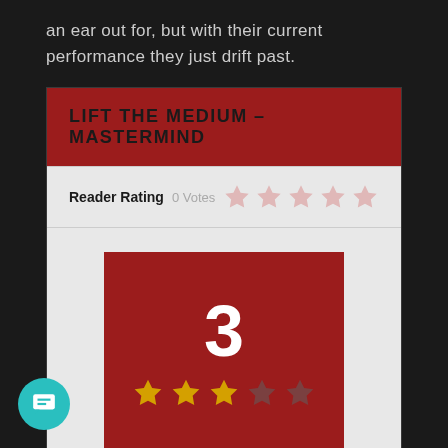an ear out for, but with their current performance they just drift past.
LIFT THE MEDIUM – MASTERMIND
Reader Rating  0 Votes
[Figure (infographic): Score box showing a 3 out of 5 rating with 3 filled stars and 2 dimmed stars inside a dark red square]
3